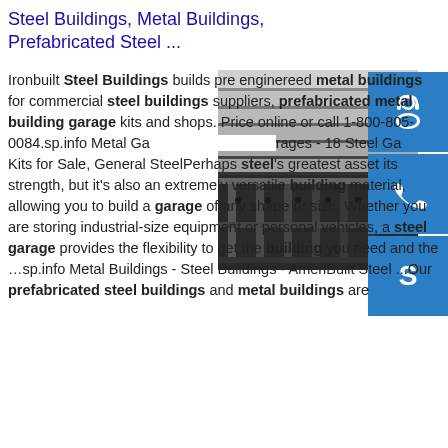Steel Buildings, Metal Buildings, Prefabricated Steel ...
[Figure (photo): Close-up photograph of stacked steel I-beams or structural steel members, showing grey metallic surfaces from above at an angle.]
Ironbuilt Steel Buildings builds pre enginereed metal buildings for commercial steel buildings suppliers, prefabricated metal building garage kits and shops. Price online or call 1-800-805-0084.sp.info Metal Garages - 18 Steel Garage Kits for Sale, General SteelPerhaps steel's greatest asset its strength, but it's also an extremely versatile building material, allowing you to build a garage of any shape or size. Whether you are storing industrial-size equipment or personal vehicles, a steel garage provides the flexibility to get the building you need and the …sp.info Metal Buildings - Steel Buildings - AmeriBuilt Steel ...Our prefabricated steel buildings and metal buildings are